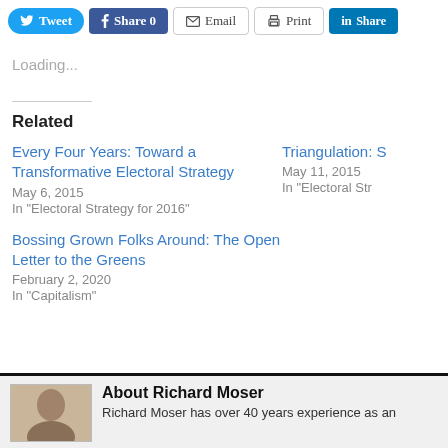Tweet | Share 0 | Email | Print | Share
Loading...
Related
Every Four Years: Toward a Transformative Electoral Strategy
May 6, 2015
In "Electoral Strategy for 2016"
Triangulation: S
May 11, 2015
In "Electoral Str
Bossing Grown Folks Around: The Open Letter to the Greens
February 2, 2020
In "Capitalism"
About Richard Moser
Richard Moser has over 40 years experience as an